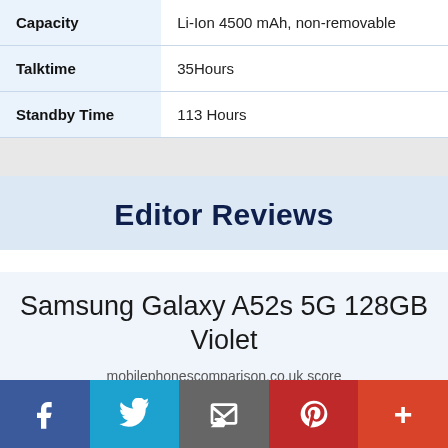| Property | Value |
| --- | --- |
| Capacity | Li-Ion 4500 mAh, non-removable |
| Talktime | 35Hours |
| Standby Time | 113 Hours |
Editor Reviews
Samsung Galaxy A52s 5G 128GB Violet
mobilephonescomparison.co.uk score